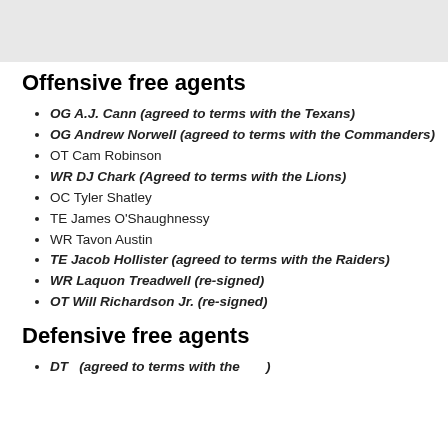[Figure (other): Gray header banner with a partial logo visible at top]
Offensive free agents
OG A.J. Cann (agreed to terms with the Texans)
OG Andrew Norwell (agreed to terms with the Commanders)
OT Cam Robinson
WR DJ Chark (Agreed to terms with the Lions)
OC Tyler Shatley
TE James O'Shaughnessy
WR Tavon Austin
TE Jacob Hollister (agreed to terms with the Raiders)
WR Laquon Treadwell (re-signed)
OT Will Richardson Jr. (re-signed)
Defensive free agents
DT ... (agreed to terms with the ...)